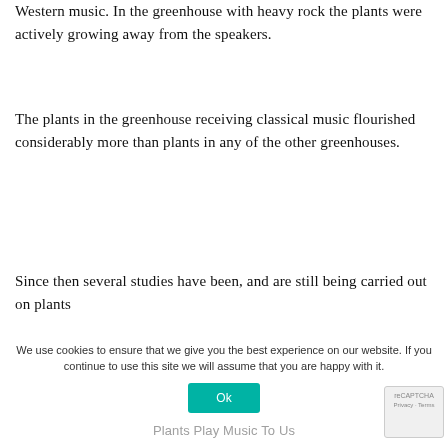Western music. In the greenhouse with heavy rock the plants were actively growing away from the speakers.
The plants in the greenhouse receiving classical music flourished considerably more than plants in any of the other greenhouses.
Since then several studies have been, and are still being carried out on plants
We use cookies to ensure that we give you the best experience on our website. If you continue to use this site we will assume that you are happy with it.
Plants Play Music To Us